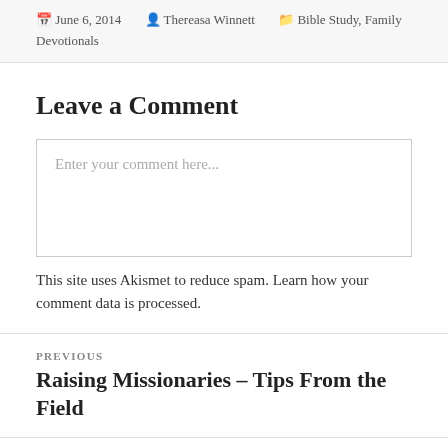June 6, 2014  Thereasa Winnett  Bible Study, Family Devotionals
Leave a Comment
Enter your comment here...
This site uses Akismet to reduce spam. Learn how your comment data is processed.
PREVIOUS
Raising Missionaries – Tips From the Field
NEXT